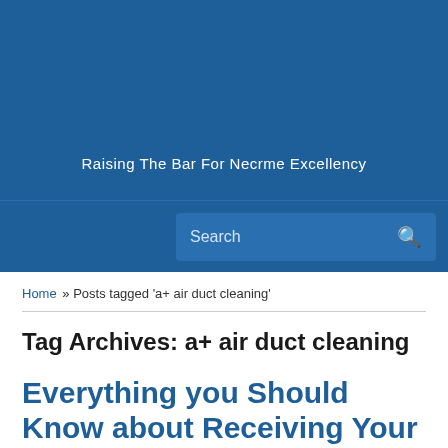Raising The Bar For Necrme Excellency
Search
Home » Posts tagged 'a+ air duct cleaning'
Tag Archives: a+ air duct cleaning
Everything you Should Know about Receiving Your Air Ducts Cleaned